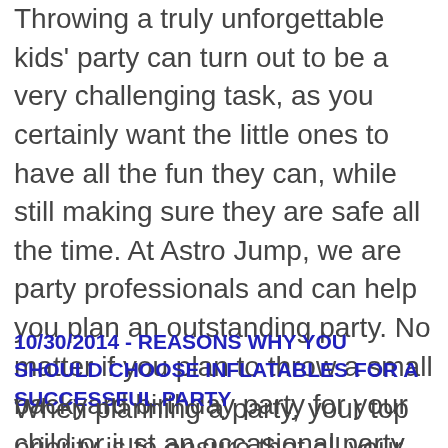Throwing a truly unforgettable kids' party can turn out to be a very challenging task, as you certainly want the little ones to have all the fun they can, while still making sure they are safe all the time. At Astro Jump, we are party professionals and can help you plan an outstanding party. No matter if you plan to throw a small backyard birthday party for your child or just an occasional party to… read more
10/30/2014 - REASONS WHY YOU SHOULD CHOOSE INFLATABLES FOR A SUCCESSFUL PARTY
When planning a party, your top priority is to ensure that all your guests enjoy themselves to the maximum. Parties can be great fun, but they can be extremely